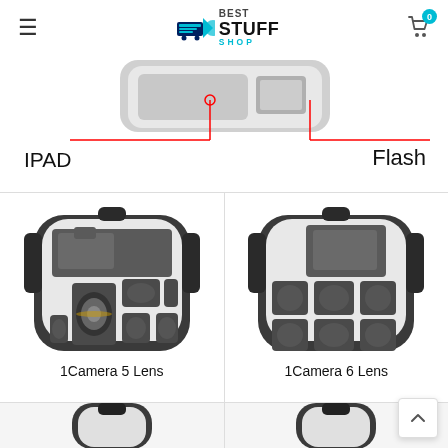[Figure (logo): Best Stuff Shop logo with shopping cart icon and teal/navy branding, hamburger menu icon on left, cart icon with badge '0' on right]
[Figure (photo): Top-down view of a camera bag interior showing iPad slot and flash slot, with red annotation lines pointing to IPAD and Flash labels]
IPAD
Flash
[Figure (photo): Open camera backpack showing 1 camera and 5 lenses in padded compartments]
1Camera 5 Lens
[Figure (photo): Open camera backpack showing 1 camera and 6 lenses in padded compartments]
1Camera 6 Lens
[Figure (photo): Partial view of another camera backpack variant shown at bottom left]
[Figure (photo): Partial view of another camera backpack variant shown at bottom right]